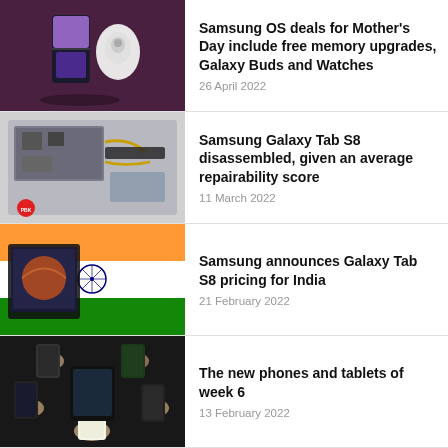[Figure (photo): Samsung Galaxy Z Flip3 and Galaxy Buds on dark purple background]
Samsung OS deals for Mother's Day include free memory upgrades, Galaxy Buds and Watches
26 April 2022
[Figure (photo): Samsung Galaxy Tab S8 disassembled internals with circuit board visible, PBK logo]
Samsung Galaxy Tab S8 disassembled, given an average repairability score
11 March 2022
[Figure (photo): Samsung Galaxy Tab S8 on Indian flag background]
Samsung announces Galaxy Tab S8 pricing for India
21 February 2022
[Figure (photo): Multiple hands holding Samsung phones and tablets, dark background]
The new phones and tablets of week 6
13 February 2022